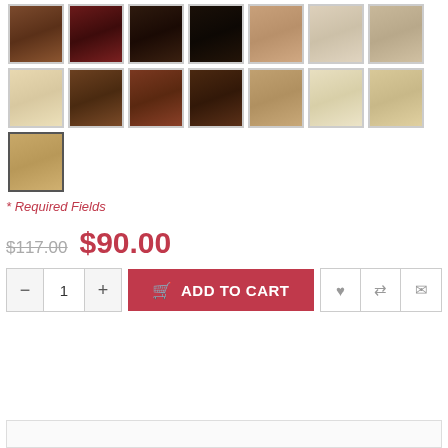[Figure (other): Grid of hair color swatch thumbnails showing various shades from dark brown/black to light blonde, arranged in 3 rows with 7 swatches per row, last row has 1 swatch selected]
* Required Fields
$117.00  $90.00
ADD TO CART